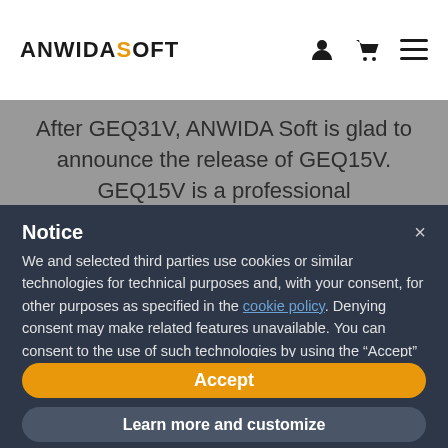ANWIDASOFT
After GEQ31V, ANWIDA Soft is glad to announce the release of GEQ15V. GEQ15V is a professional
Notice
We and selected third parties use cookies or similar technologies for technical purposes and, with your consent, for other purposes as specified in the cookie policy. Denying consent may make related features unavailable. You can consent to the use of such technologies by using the “Accept” button or by closing this notice.
Accept
Learn more and customize